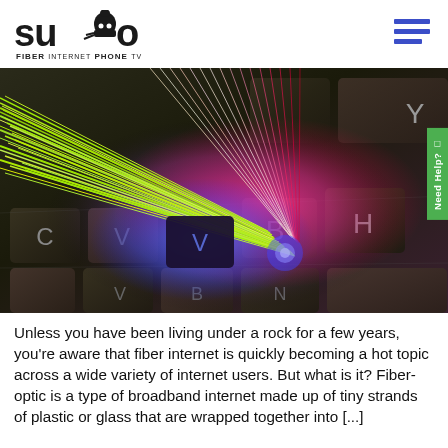Sumo Fiber Internet Phone TV
[Figure (photo): Fiber optic cables with glowing light spread across a laptop keyboard, showing colorful illuminated strands of green, pink, red, and blue against dark keyboard keys including C, V, B, H, Y, N keys.]
Unless you have been living under a rock for a few years, you’re aware that fiber internet is quickly becoming a hot topic across a wide variety of internet users. But what is it? Fiber-optic is a type of broadband internet made up of tiny strands of plastic or glass that are wrapped together into [...]